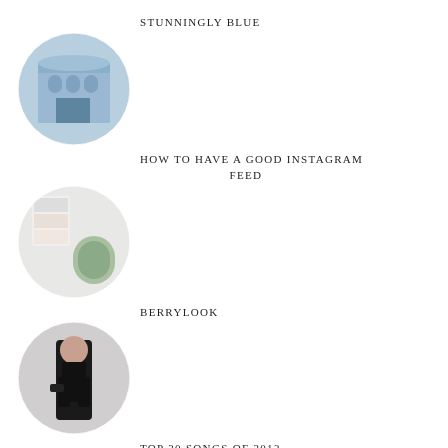STUNNINGLY BLUE
[Figure (photo): Circular cropped photo of a ornate blue building facade]
HOW TO HAVE A GOOD INSTAGRAM FEED
[Figure (photo): Circular cropped photo collage showing Instagram feed screenshots and flowers]
BERRYLOOK
[Figure (photo): Circular cropped photo of a woman in a black dress]
TOP 20 SONGS OF 2013
[Figure (photo): Circular cropped image with text list of songs over a dark ocean/sky background]